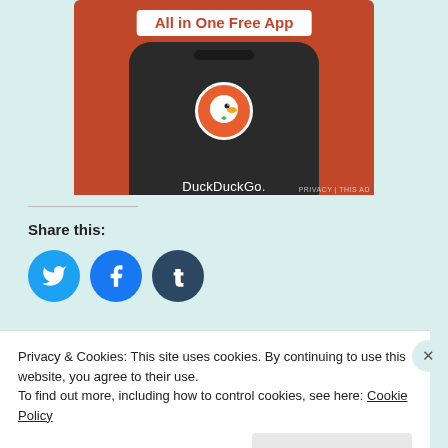[Figure (screenshot): DuckDuckGo 'All in One Free App' advertisement showing a smartphone with the DuckDuckGo logo on an orange/red background]
Share this:
[Figure (infographic): Three social sharing buttons: Twitter (blue bird), Facebook (blue f), Tumblr (dark blue t)]
Like
Privacy & Cookies: This site uses cookies. By continuing to use this website, you agree to their use.
To find out more, including how to control cookies, see here: Cookie Policy
Close and accept